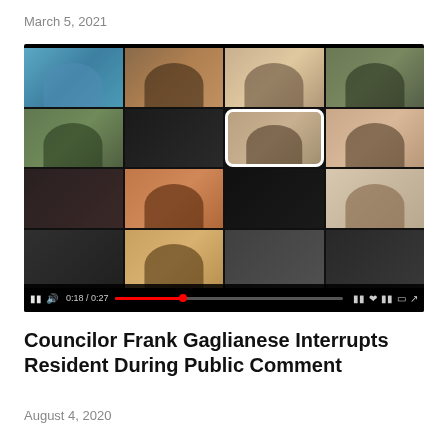March 5, 2021
[Figure (screenshot): Screenshot of a video player showing a Zoom meeting with multiple participants in a grid layout. A progress bar at the bottom shows 0:18/0:27. One participant in the center is highlighted with a white rounded border.]
Councilor Frank Gaglianese Interrupts Resident During Public Comment
August 4, 2020